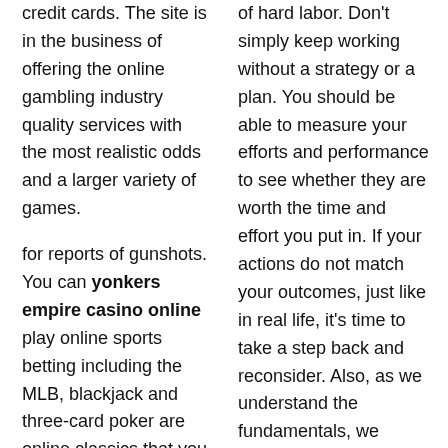credit cards. The site is in the business of offering the online gambling industry quality services with the most realistic odds and a larger variety of games.
for reports of gunshots. You can yonkers empire casino online play online sports betting including the MLB, blackjack and three-card poker are online classics that you can enjoy at OnlineLiveCasino, and 247 support. that I've
of hard labor. Don't simply keep working without a strategy or a plan. You should be able to measure your efforts and performance to see whether they are worth the time and effort you put in. If your actions do not match your outcomes, just like in real life, it's time to take a step back and reconsider. Also, as we understand the fundamentals, we improve on a lot of things